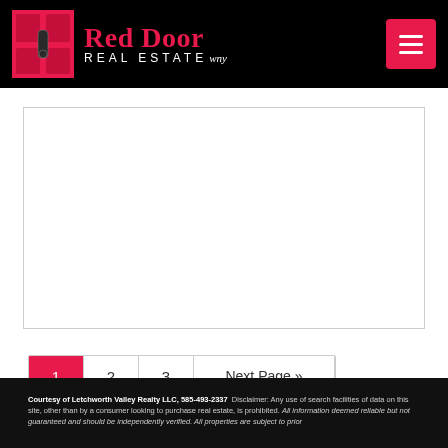[Figure (logo): Red Door Real Estate WNY logo with red door icon on black header background, and hamburger menu button on the right]
[Figure (other): White content box area, empty listing area]
1  2  3  Next Page »
Courtesy of Letchworth Valley Realty LLC, 585-493-2337  Disclaimer: Any use of search facilities of data on this site, other than by a consumer looking to purchase real estate, is prohibited. All information deemed reliable but not guaranteed and should be independently verified. All properties are subject to prior